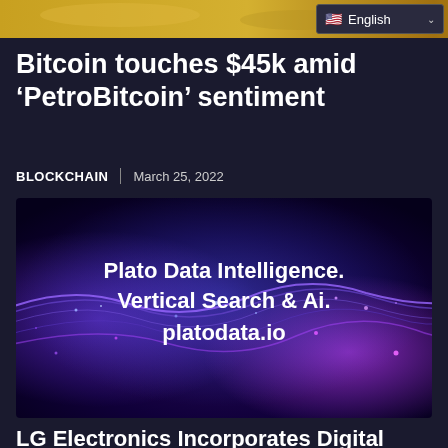[Figure (photo): Top banner showing partial gold/bitcoin image with English language selector overlay]
Bitcoin touches $45k amid 'PetroBitcoin' sentiment
BLOCKCHAIN | March 25, 2022
[Figure (illustration): Plato Data Intelligence advertisement banner with purple/blue digital wave background. Text: Plato Data Intelligence. Vertical Search & Ai. platodata.io]
LG Electronics Incorporates Digital Assets and Blockchain in Business